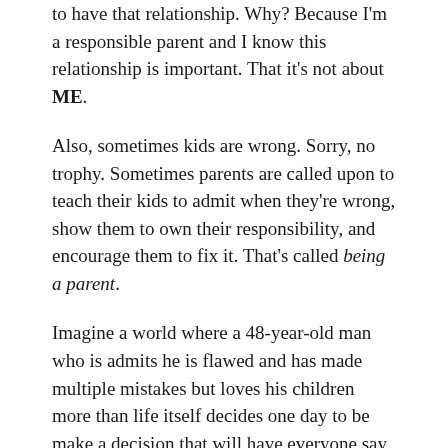to have that relationship. Why? Because I'm a responsible parent and I know this relationship is important. That it's not about ME.
Also, sometimes kids are wrong. Sorry, no trophy. Sometimes parents are called upon to teach their kids to admit when they're wrong, show them to own their responsibility, and encourage them to fix it. That's called being a parent.
Imagine a world where a 48-year-old man who is admits he is flawed and has made multiple mistakes but loves his children more than life itself decides one day to be make a decision that will have everyone say, what a great father! ....for reaching out to the ex-wife he hates more than the man who loved her better to help their son and daughter rebuild a relationship with her.